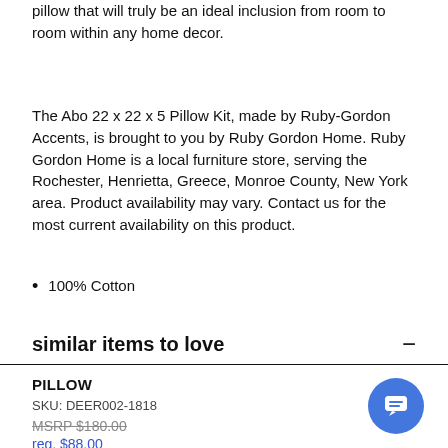pillow that will truly be an ideal inclusion from room to room within any home decor.
The Abo 22 x 22 x 5 Pillow Kit, made by Ruby-Gordon Accents, is brought to you by Ruby Gordon Home. Ruby Gordon Home is a local furniture store, serving the Rochester, Henrietta, Greece, Monroe County, New York area. Product availability may vary. Contact us for the most current availability on this product.
100% Cotton
similar items to love
PILLOW
SKU: DEER002-1818
MSRP $180.00
reg. $88.00
Final Sale Price $80.00